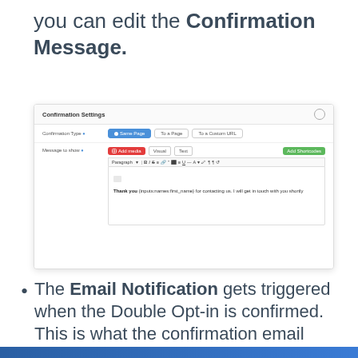you can edit the Confirmation Message.
[Figure (screenshot): Screenshot of Confirmation Settings panel showing Confirmation Type (Same Page selected) and Message to show editor with text: Thank you {inputs:names:first_name} for contacting us. I will get in touch with you shortly]
The Email Notification gets triggered when the Double Opt-in is confirmed. This is what the confirmation email looks like –